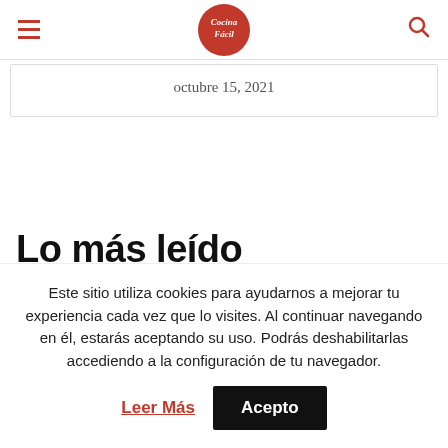Cocina Fácil — navigation header with hamburger menu, logo, and search icon
octubre 15, 2021
Lo más leído
1 — Cómo eliminar los hilos de
Este sitio utiliza cookies para ayudarnos a mejorar tu experiencia cada vez que lo visites. Al continuar navegando en él, estarás aceptando su uso. Podrás deshabilitarlas accediendo a la configuración de tu navegador. Leer Más Acepto